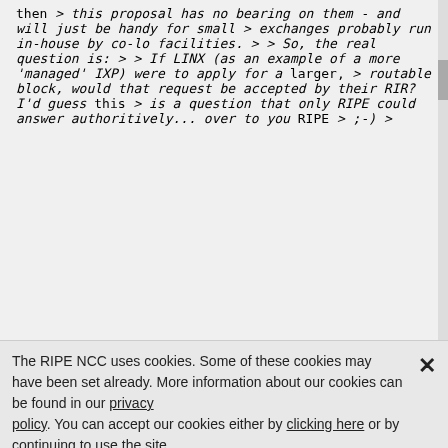then
> this proposal has no bearing on them - and will just be handy for small
> exchanges probably run in-house by co-lo facilities.
>
> So, the real question is:
>
> If LINX (as an example of a more 'managed' IXP) were to apply for a larger,
> routable block, would that request be accepted by their RIR?  I'd guess this
> is a question that only RIPE could answer authoritively... over to you RIPE
> ;-)
>
The RIPE NCC uses cookies. Some of these cookies may have been set already. More information about our cookies can be found in our privacy policy. You can accept our cookies either by clicking here or by continuing to use the site.